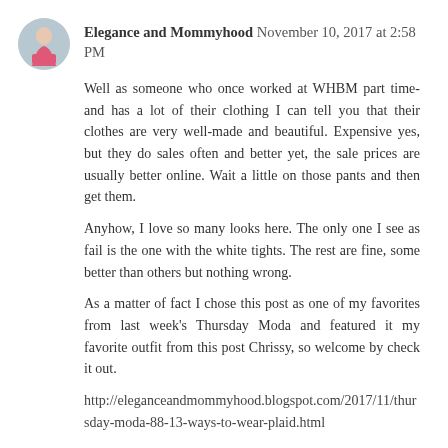Elegance and Mommyhood November 10, 2017 at 2:58 PM
Well as someone who once worked at WHBM part time- and has a lot of their clothing I can tell you that their clothes are very well-made and beautiful. Expensive yes, but they do sales often and better yet, the sale prices are usually better online. Wait a little on those pants and then get them.
Anyhow, I love so many looks here. The only one I see as fail is the one with the white tights. The rest are fine, some better than others but nothing wrong.
As a matter of fact I chose this post as one of my favorites from last week's Thursday Moda and featured it my favorite outfit from this post Chrissy, so welcome by check it out.
http://eleganceandmommyhood.blogspot.com/2017/11/thursday-moda-88-13-ways-to-wear-plaid.html
Reply
Replies